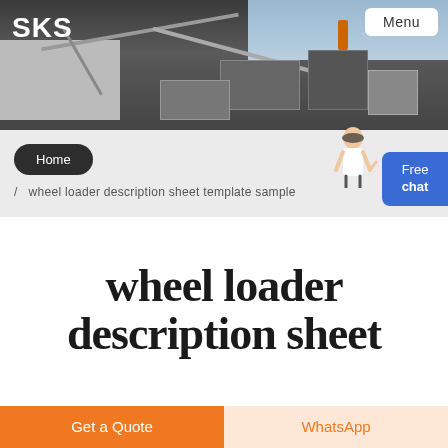[Figure (photo): Industrial machinery / mining equipment site photo with conveyor belts and heavy machinery. SKS logo and Menu button overlay.]
SKS
Menu
Home / wheel loader description sheet template sample
[Figure (illustration): Customer service representative figure with Free chat button]
wheel loader description sheet
Get a Quote
WhatsApp